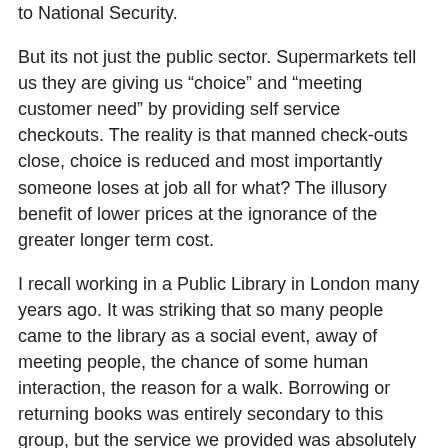to National Security.
But its not just the public sector. Supermarkets tell us they are giving us “choice” and “meeting customer need” by providing self service checkouts. The reality is that manned check-outs close, choice is reduced and most importantly someone loses at job all for what? The illusory benefit of lower prices at the ignorance of the greater longer term cost.
I recall working in a Public Library in London many years ago. It was striking that so many people came to the library as a social event, away of meeting people, the chance of some human interaction, the reason for a walk. Borrowing or returning books was entirely secondary to this group, but the service we provided was absolutely essential.
Doing things online to the exclusion of other means, and self service everything, is a progressive attack on personal interaction and a mechanism of introducing exclusion and reducing choice. The end result is that we have to put up with fatuous initiatives such as “Get On Line Week” to try to twist the arm of many who simply do not want, and should